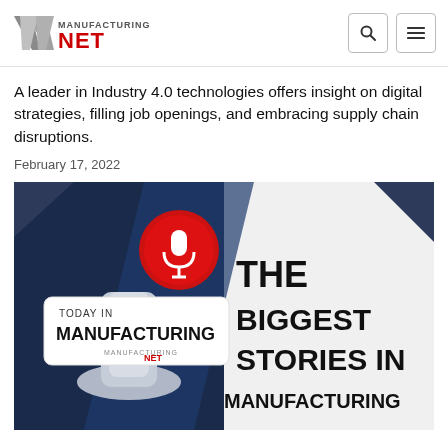Manufacturing.net logo with search and menu icons
A leader in Industry 4.0 technologies offers insight on digital strategies, filling job openings, and embracing supply chain disruptions.
February 17, 2022
[Figure (illustration): Today in Manufacturing podcast promotional image showing a microphone on dark navy/blue background with a red circular badge, text reading 'TODAY IN MANUFACTURING' on the left and 'THE BIGGEST STORIES IN MANUFACTURING' on the right in bold black text on white/light background.]